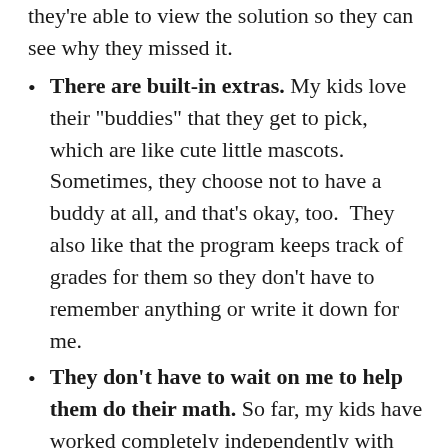they’re able to view the solution so they can see why they missed it.
There are built-in extras. My kids love their “buddies” that they get to pick, which are like cute little mascots. Sometimes, they choose not to have a buddy at all, and that’s okay, too. They also like that the program keeps track of grades for them so they don’t have to remember anything or write it down for me.
They don’t have to wait on me to help them do their math. So far, my kids have worked completely independently with their math, but did you know that Teaching Textbooks actually offers free tutoring? Yes, they do! When your children reach a point in their math studies where they just don’t